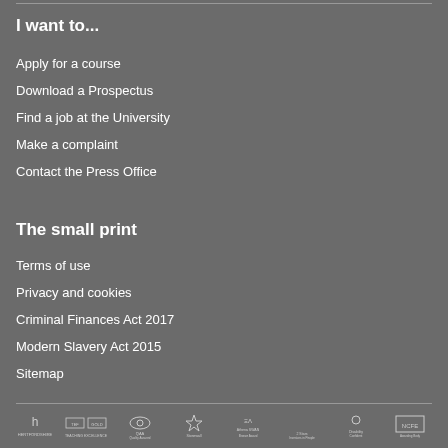I want to...
Apply for a course
Download a Prospectus
Find a job at the University
Make a complaint
Contact the Press Office
The small print
Terms of use
Privacy and cookies
Criminal Finances Act 2017
Modern Slavery Act 2015
Sitemap
[Figure (logo): Row of partner/accreditation logos at the bottom of the page]